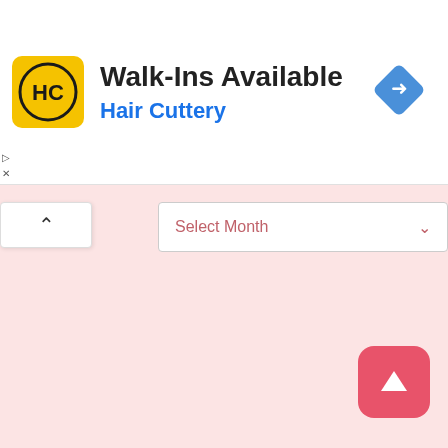[Figure (screenshot): Hair Cuttery advertisement banner showing logo, 'Walk-Ins Available' title, brand name, and a navigation/directions icon]
Walk-Ins Available
Hair Cuttery
Select Month
[Figure (screenshot): Scroll to top button — pink rounded square with upward arrow icon]